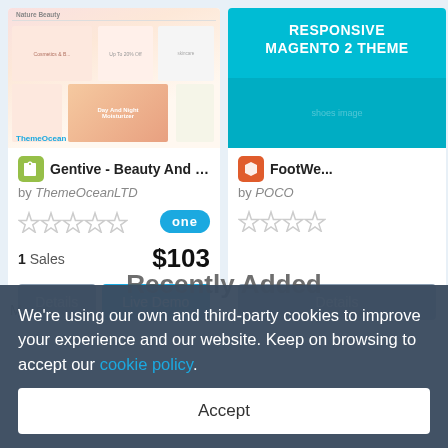[Figure (screenshot): Product listing page for Gentive Beauty and Cosmetics Shopify theme by ThemeOceanLTD, showing a preview collage of the theme with cosmetic product images, a woman with glasses, skin care products, and ThemeOcean branding.]
Gentive - Beauty And Cos...
by ThemeOceanLTD
1 Sales
$103
[Figure (screenshot): Product listing page for FootWear responsive Magento 2 theme by POCO, showing a teal/cyan background with the text RESPONSIVE MAGENTO 2 THEME and shoes at the bottom.]
FootWe...
by POCO
We're using our own and third-party cookies to improve your experience and our website. Keep on browsing to accept our cookie policy.
Recently Added
M...es
Accept